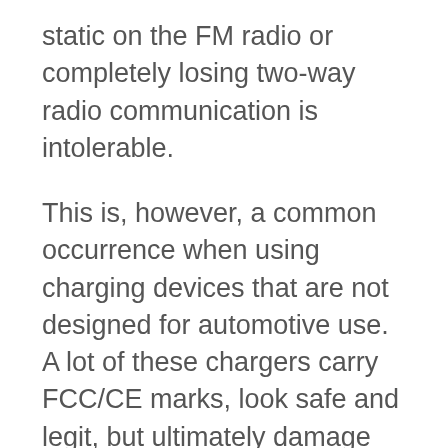static on the FM radio or completely losing two-way radio communication is intolerable.
This is, however, a common occurrence when using charging devices that are not designed for automotive use. A lot of these chargers carry FCC/CE marks, look safe and legit, but ultimately damage your ability to receive and transmit radio communications. This could be as benign as negatively impacting your ability to receive an AM radio station, or as painful and inconvenient as